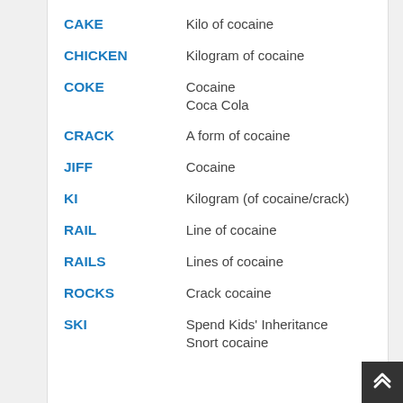| Term | Definition |
| --- | --- |
| CAKE | Kilo of cocaine |
| CHICKEN | Kilogram of cocaine |
| COKE | Cocaine
Coca Cola |
| CRACK | A form of cocaine |
| JIFF | Cocaine |
| KI | Kilogram (of cocaine/crack) |
| RAIL | Line of cocaine |
| RAILS | Lines of cocaine |
| ROCKS | Crack cocaine |
| SKI | Spend Kids' Inheritance
Snort cocaine |